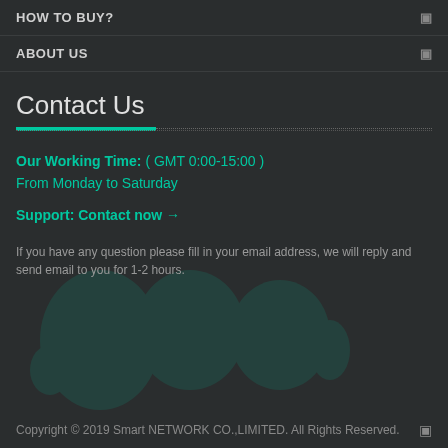HOW TO BUY?
ABOUT US
Contact Us
Our Working Time: ( GMT 0:00-15:00 )
From Monday to Saturday
Support: Contact now →
If you have any question please fill in your email address, we will reply and send email to you for 1-2 hours.
Copyright © 2019 Smart NETWORK CO.,LIMITED. All Rights Reserved.